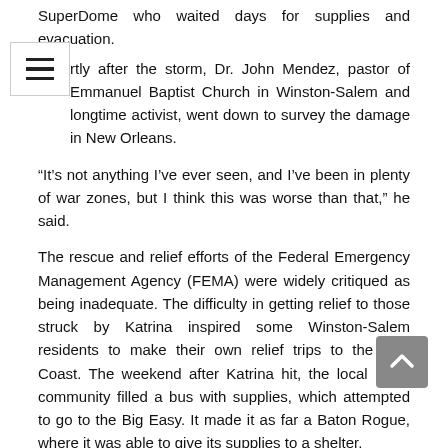SuperDome who waited days for supplies and evacuation.
Shortly after the storm, Dr. John Mendez, pastor of Emmanuel Baptist Church in Winston-Salem and longtime activist, went down to survey the damage in New Orleans.
“It’s not anything I’ve ever seen, and I’ve been in plenty of war zones, but I think this was worse than that,” he said.
The rescue and relief efforts of the Federal Emergency Management Agency (FEMA) were widely critiqued as being inadequate. The difficulty in getting relief to those struck by Katrina inspired some Winston-Salem residents to make their own relief trips to the Gulf Coast. The weekend after Katrina hit, the local black community filled a bus with supplies, which attempted to go to the Big Easy. It made it as far a Baton Rogue, where it was able to give its supplies to a shelter.
Mendez said the response was “negligent” and showed a “lack of caring” for the largely black population that had been stranded in New Orleans.
“One of the things that Katrina woke the nation up to was the fact that people actually lived and suffered and were impoverished in this country,” he said.